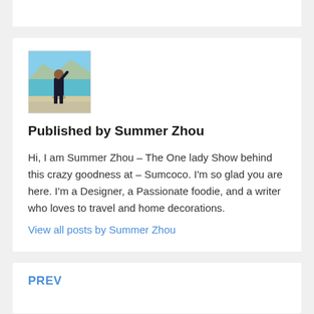[Figure (photo): Author photo of Summer Zhou standing near turquoise water with mountains in background, wearing dark clothing]
Published by Summer Zhou
Hi, I am Summer Zhou – The One lady Show behind this crazy goodness at – Sumcoco. I'm so glad you are here. I'm a Designer, a Passionate foodie, and a writer who loves to travel and home decorations.
View all posts by Summer Zhou
PREV